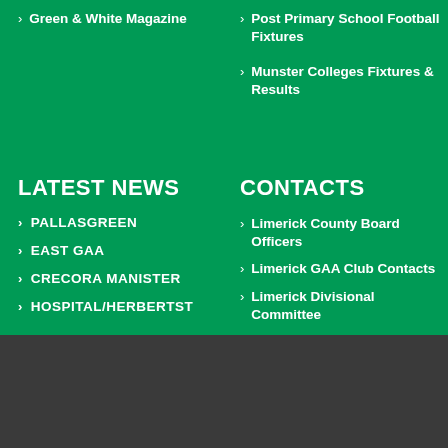Green & White Magazine
Post Primary School Football Fixtures
Munster Colleges Fixtures & Results
LATEST NEWS
CONTACTS
PALLASGREEN
EAST GAA
CRECORA MANISTER
HOSPITAL/HERBERTST
Limerick County Board Officers
Limerick GAA Club Contacts
Limerick Divisional Committee
This website uses cookies and third party services to optomize our services. Settings
CLICK TO ACCEPT COOKIE POLICY